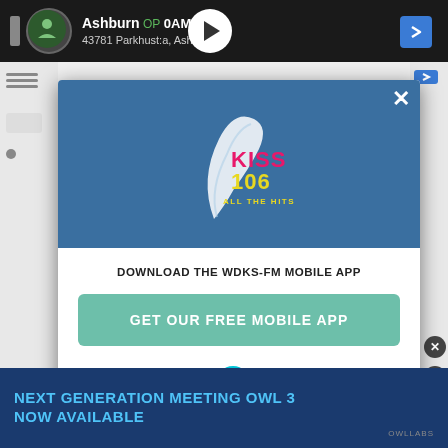[Figure (screenshot): Screenshot of a mobile browser showing a popup modal for KISS 106 radio station app download. The modal sits over a webpage background. Top portion has a black ad bar showing 'Ashburn OPEN 10AM-6PM, 43781 Parkhurst Plaza, Ashburn' with a play button. The modal has a teal/blue header with KISS 106 logo, then white body with text 'DOWNLOAD THE WDKS-FM MOBILE APP', a teal 'GET OUR FREE MOBILE APP' button, and 'Also listen on: [Amazon Alexa logo] amazon alexa'. Bottom shows a dark blue banner reading 'NEXT GENERATION MEETING OWL 3 NOW AVAILABLE'.]